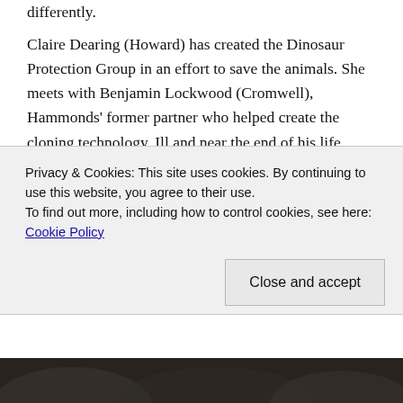differently.
Claire Dearing (Howard) has created the Dinosaur Protection Group in an effort to save the animals. She meets with Benjamin Lockwood (Cromwell), Hammonds' former partner who helped create the cloning technology. Ill and near the end of his life, Lockwood and his assistant Eli (Spall) share with Claire their intention to rescue the dinosaurs and relocate them to a remote island where they can live without human interaction. In fact, the rescue is already under way. The men request help in locating Blue, the last living velociraptor that
Privacy & Cookies: This site uses cookies. By continuing to use this website, you agree to their use.
To find out more, including how to control cookies, see here: Cookie Policy
Close and accept
[Figure (photo): Dark photo strip at bottom of page]